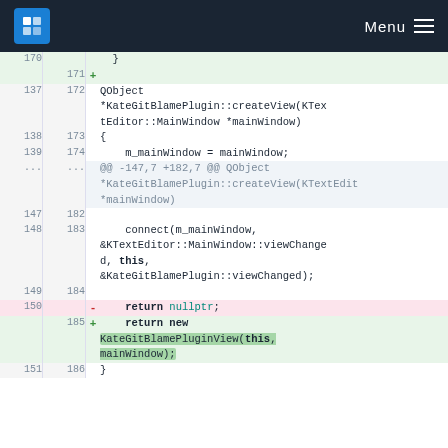[Figure (screenshot): KDE website header with KDE logo and Menu button]
Git diff view showing code changes in KateGitBlamePlugin::createView function. Lines 170-186 shown with context, removed line 150 (return nullptr;) and added line 185 (return new KateGitBlamePluginView(this, mainWindow);)